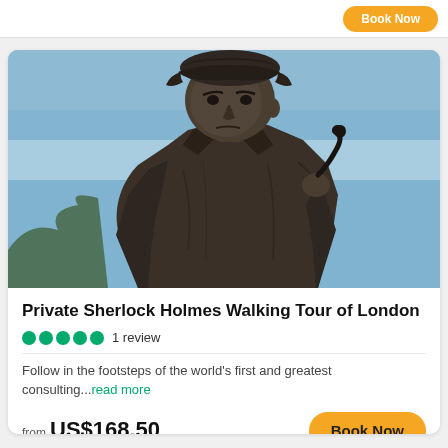[Figure (photo): Bronze statue of Sherlock Holmes wearing a deerstalker hat and holding a curved pipe, photographed from below against a light blue sky.]
Private Sherlock Holmes Walking Tour of London
●●●●● 1 review
Follow in the footsteps of the world's first and greatest consulting...read more
from US$168.50
Book Now